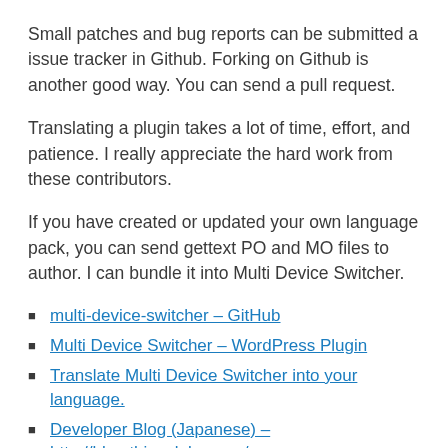Small patches and bug reports can be submitted a issue tracker in Github. Forking on Github is another good way. You can send a pull request.
Translating a plugin takes a lot of time, effort, and patience. I really appreciate the hard work from these contributors.
If you have created or updated your own language pack, you can send gettext PO and MO files to author. I can bundle it into Multi Device Switcher.
multi-device-switcher – GitHub
Multi Device Switcher – WordPress Plugin
Translate Multi Device Switcher into your language.
Developer Blog (Japanese) – http://blog.thingslabo.com/